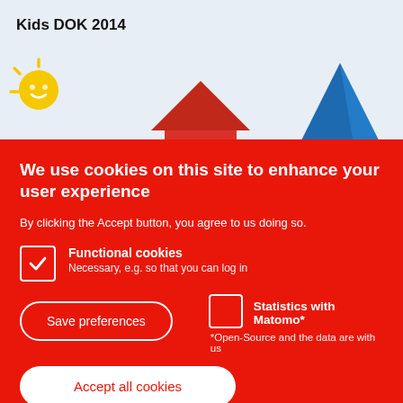Kids DOK 2014
[Figure (illustration): Colorful illustration of a sun, red house, and blue paper boat/house shapes against a light blue sky background]
We use cookies on this site to enhance your user experience
By clicking the Accept button, you agree to us doing so.
Functional cookies — Necessary, e.g. so that you can log in
Statistics with Matomo* — *Open-Source and the data are with us
Save preferences
Accept all cookies